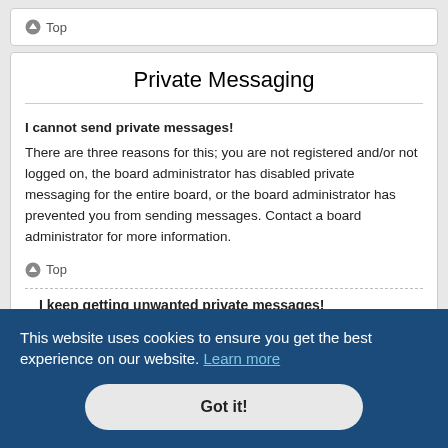↑ Top
Private Messaging
I cannot send private messages!
There are three reasons for this; you are not registered and/or not logged on, the board administrator has disabled private messaging for the entire board, or the board administrator has prevented you from sending messages. Contact a board administrator for more information.
↑ Top
I keep getting unwanted private messages!
using
ving
a user
This website uses cookies to ensure you get the best experience on our website. Learn more
Got it!